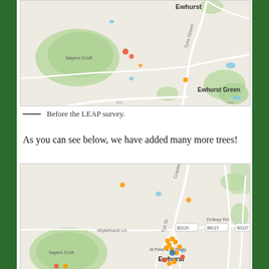[Figure (map): Map showing Ewhurst area before the LEAP survey, with Ewhurst Green labeled, Sayers Croft woodland area in green, and a few orange/red markers indicating trees. Road labels include B2127 and Tyes Green.]
— Before the LEAP survey.
As you can see below, we have added many more trees!
[Figure (map): Map showing Ewhurst village area after the LEAP survey, with many more orange/red tree markers clustered around the village centre near St Peter & St Paul's church. Roads shown include B2127, Wykehurst Ln, Dollay Rd, Cranleigh Rd. Sayers Croft woodland visible in south.]